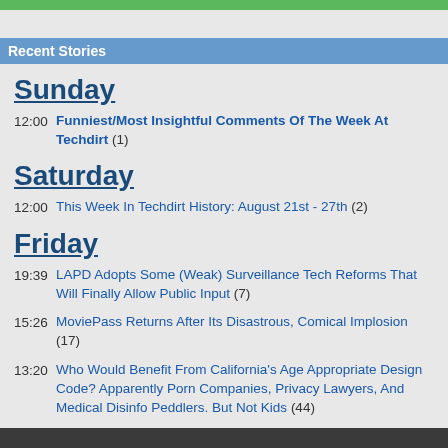Recent Stories
Sunday
12:00 Funniest/Most Insightful Comments Of The Week At Techdirt (1)
Saturday
12:00 This Week In Techdirt History: August 21st - 27th (2)
Friday
19:39 LAPD Adopts Some (Weak) Surveillance Tech Reforms That Will Finally Allow Public Input (7)
15:26 MoviePass Returns After Its Disastrous, Comical Implosion (17)
13:20 Who Would Benefit From California's Age Appropriate Design Code? Apparently Porn Companies, Privacy Lawyers, And Medical Disinfo Peddlers. But Not Kids (44)
This site, like most other sites on the web, uses cookies. For more information, see our privacy policy
GOT IT